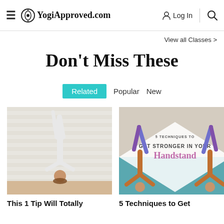≡ YogiApproved.com   Log In 🔍
View all Classes >
Don't Miss These
Related   Popular   New
[Figure (photo): Person doing a headstand against a white brick wall in a yoga studio, wearing white pants and a white top.]
[Figure (photo): Two people doing handstand poses on a yoga mat with text overlay: '5 TECHNIQUES TO GET STRONGER IN YOUR Handstand']
This 1 Tip Will Totally
5 Techniques to Get